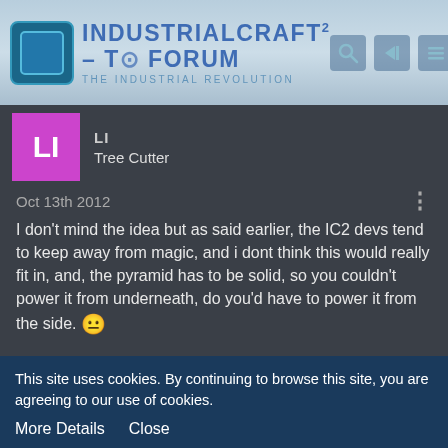IndustrialCraft² - The Forum · The Industrial Revolution
LI
Tree Cutter
Oct 13th 2012
I don't mind the idea but as said earlier, the IC2 devs tend to keep away from magic, and i dont think this would really fit in, and, the pyramid has to be solid, so you couldn't power it from underneath, do you'd have to power it from the side. 😐
RockRaiderZulu
(too long, look at sig)
This site uses cookies. By continuing to browse this site, you are agreeing to our use of cookies.
More Details   Close